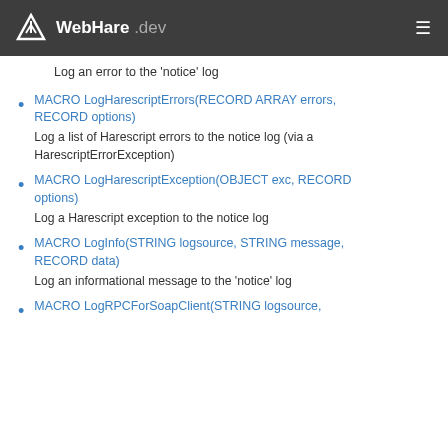WebHare .dev
Log an error to the 'notice' log
MACRO LogHarescriptErrors(RECORD ARRAY errors, RECORD options)
Log a list of Harescript errors to the notice log (via a HarescriptErrorException)
MACRO LogHarescriptException(OBJECT exc, RECORD options)
Log a Harescript exception to the notice log
MACRO LogInfo(STRING logsource, STRING message, RECORD data)
Log an informational message to the 'notice' log
MACRO LogRPCForSoapClient(STRING logsource,